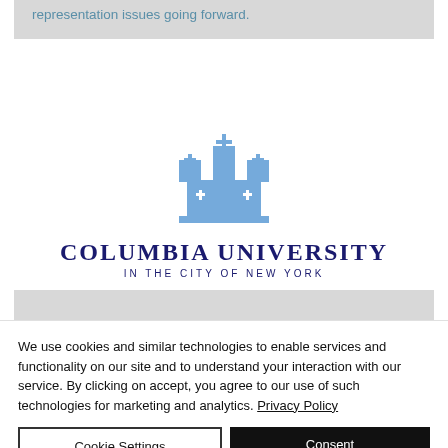representation issues going forward.
[Figure (logo): Columbia University crown logo with text 'Columbia University in the City of New York']
Issue of Party Representation in AS
We use cookies and similar technologies to enable services and functionality on our site and to understand your interaction with our service. By clicking on accept, you agree to our use of such technologies for marketing and analytics. Privacy Policy
Cookie Settings
Consent